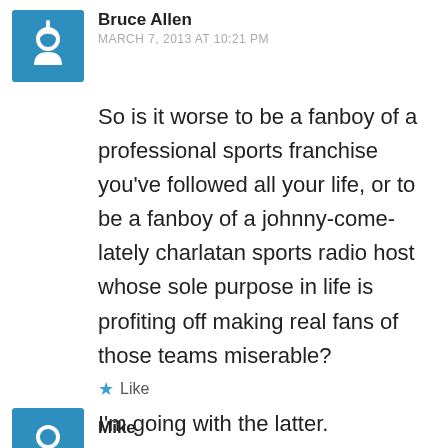[Figure (illustration): Blue square avatar icon with white power/user symbol]
Bruce Allen
MARCH 7, 2013 AT 10:21 PM
So is it worse to be a fanboy of a professional sports franchise you've followed all your life, or to be a fanboy of a johnny-come-lately charlatan sports radio host whose sole purpose in life is profiting off making real fans of those teams miserable?

I'm going with the latter.
Like
[Figure (illustration): Blue square avatar icon with white user symbol, partially visible]
Mike